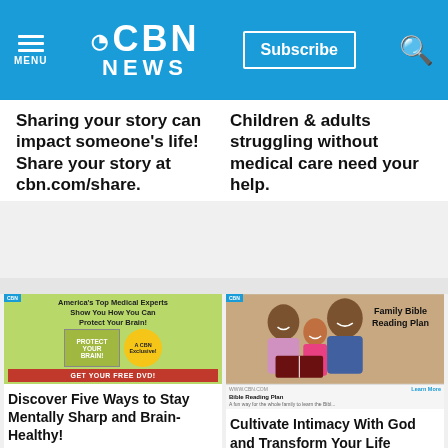CBN NEWS — Subscribe — Menu — Search
Sharing your story can impact someone's life! Share your story at cbn.com/share.
Children & adults struggling without medical care need your help.
[Figure (screenshot): Advertisement: America's Top Medical Experts Show You How You Can Protect Your Brain! Protect Your Brain DVD. A CBN Exclusive! Get Your Free DVD! Streaming available!]
Discover Five Ways to Stay Mentally Sharp and Brain-Healthy!
[Figure (screenshot): Advertisement: Family Bible Reading Plan. Photo of smiling family. WWW.CBN.COM Bible Reading Plan — A fun way for the whole family to learn the Bible. Learn More.]
Cultivate Intimacy With God and Transform Your Life